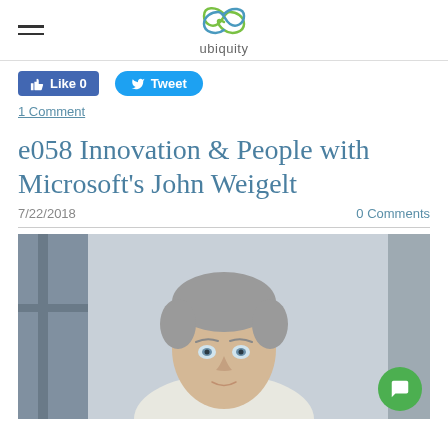ubiquity
Like 0   Tweet
1 Comment
e058 Innovation & People with Microsoft's John Weigelt
7/22/2018   0 Comments
[Figure (photo): Professional headshot of a middle-aged man with grey hair, light eyes, wearing a light-colored shirt, photographed against a blurred indoor background.]